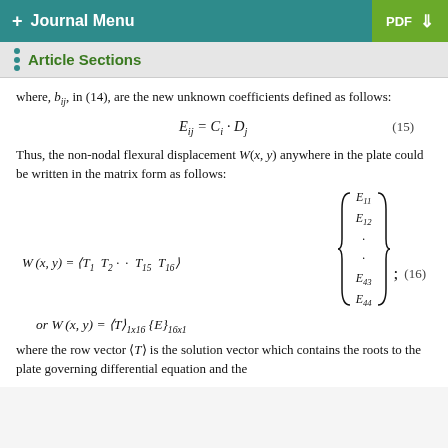+ Journal Menu  PDF ↓
Article Sections
where, E_ij, in (14), are the new unknown coefficients defined as follows:
Thus, the non-nodal flexural displacement W(x, y) anywhere in the plate could be written in the matrix form as follows:
where the row vector ⟨T⟩ is the solution vector which contains the roots to the plate governing differential equation and the